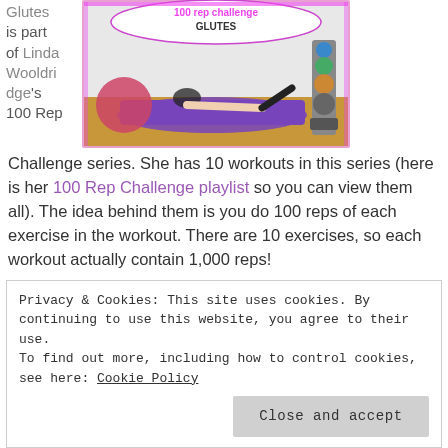Glutes is part of Linda Wooldridge's 100 Rep Challenge series. She has 10 workouts in this series (here is her 100 Rep Challenge playlist so you can view them all). The idea behind them is you do 100 reps of each exercise in the workout. There are 10 exercises, so each workout actually contain 1,000 reps!
[Figure (photo): Thumbnail image for 100 rep challenge – Glutes workout video. Shows a woman lying on a purple exercise mat doing a side-lying leg raise. A pink exercise ball and kettlebell rack are visible in the background. Pink/purple banner at top reads '100 rep challenge GLUTES'.]
Privacy & Cookies: This site uses cookies. By continuing to use this website, you agree to their use. To find out more, including how to control cookies, see here: Cookie Policy
Close and accept
equals 10 exercises/1,000 reps–or 500 reps for each